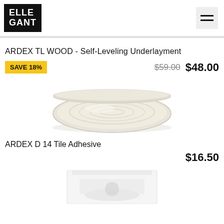ELLE GANT
ARDEX TL WOOD - Self-Leveling Underlayment
SAVE 18%   $59.00   $48.00
[Figure (photo): Top-down view of a round container of ARDEX D 14 Tile Adhesive showing the creamy white adhesive surface with swirl patterns]
ARDEX D 14 Tile Adhesive
$16.50
[Figure (photo): Partial view of a white bag/package of another ARDEX product, cropped at bottom of page]